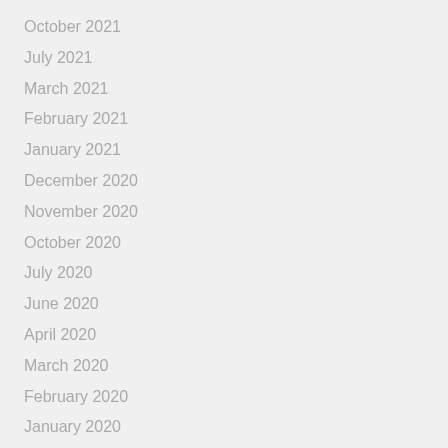October 2021
July 2021
March 2021
February 2021
January 2021
December 2020
November 2020
October 2020
July 2020
June 2020
April 2020
March 2020
February 2020
January 2020
August 2018